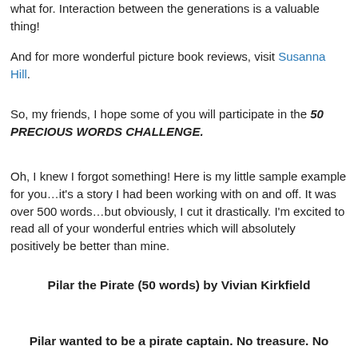what for. Interaction between the generations is a valuable thing!
And for more wonderful picture book reviews, visit Susanna Hill.
So, my friends, I hope some of you will participate in the 50 PRECIOUS WORDS CHALLENGE.
Oh, I knew I forgot something! Here is my little sample example for you…it's a story I had been working with on and off. It was over 500 words…but obviously, I cut it drastically. I'm excited to read all of your wonderful entries which will absolutely positively be better than mine.
Pilar the Pirate (50 words) by Vivian Kirkfield
Pilar wanted to be a pirate captain. No treasure. No